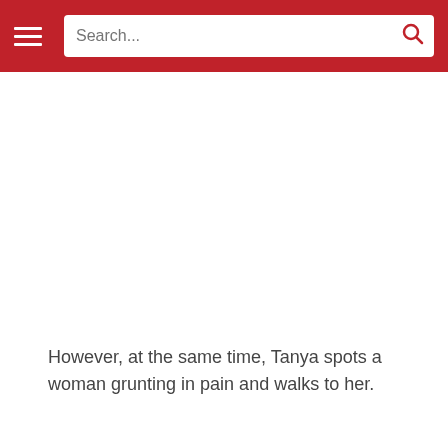Search...
However, at the same time, Tanya spots a woman grunting in pain and walks to her.